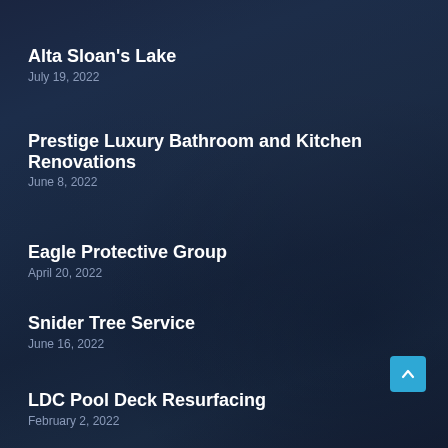Alta Sloan's Lake
July 19, 2022
Prestige Luxury Bathroom and Kitchen Renovations
June 8, 2022
Eagle Protective Group
April 20, 2022
Snider Tree Service
June 16, 2022
LDC Pool Deck Resurfacing
February 2, 2022